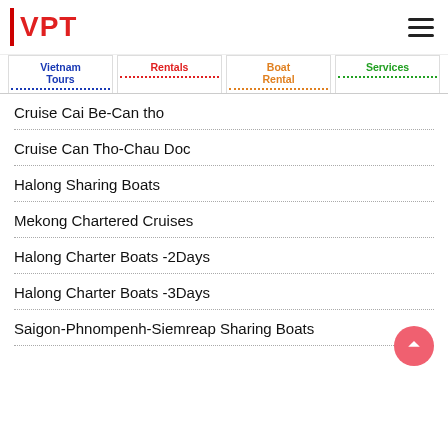VPT
Vietnam Tours
Rentals
Boat Rental
Services
Cruise Cai Be-Can tho
Cruise Can Tho-Chau Doc
Halong Sharing Boats
Mekong Chartered Cruises
Halong Charter Boats -2Days
Halong Charter Boats -3Days
Saigon-Phnompenh-Siemreap Sharing Boats